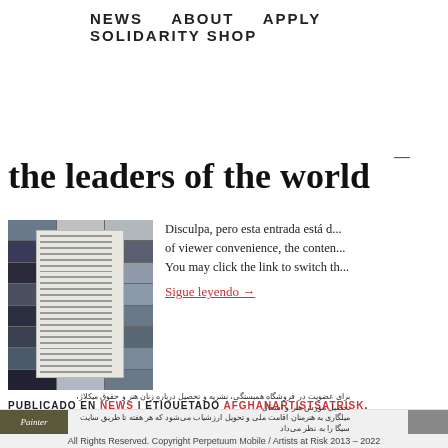NEWS   ABOUT   APPLY   SOLIDARITY SHOP
the leaders of the world
[Figure (photo): Collage of photos surrounding a document with text, arranged in a grid]
Disculpa, pero esta entrada está d... of viewer convenience, the conten... You may click the link to switch th...
Sigue leyendo →
PUBLICADO EN NEWS | ETIQUETADO AFGHANARTISTSATRISK,
All Rights Reserved. Copyright Perpetuum Mobile / Artists at Risk 2013 - 2022